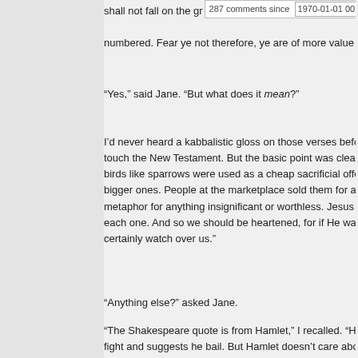shall not fall on the ground without your Father's knowledge. But the very hairs of your head are all numbered. Fear ye not therefore, ye are of more value than many sparrows.
“Yes,” said Jane. “But what does it mean?”
I’d never heard a kabbalistic gloss on those verses before. The top rabbi refused to touch the New Testament. But the basic point was clear enough: “Du. birds like sparrows were used as a cheap sacrificial offering for people who couldn’t afford bigger ones. People at the marketplace sold them for a pittance, so they became a metaphor for anything insignificant or worthless. Jesus said God never loses track of each one. And so we should be heartened, for if He watches over the sparrows, He will certainly watch over us.”
“Anything else?” asked Jane.
“The Shakespeare quote is from Hamlet,” I recalled. “Horatio predicts Hamlet will lose the fight and suggests he bail. But Hamlet doesn’t care about the odds. He quotes ‘special augury’, then paraphrases the verse from Matthew. If everything happens according to divine plan, he’s got nothing to fear.”
“Anything else?”